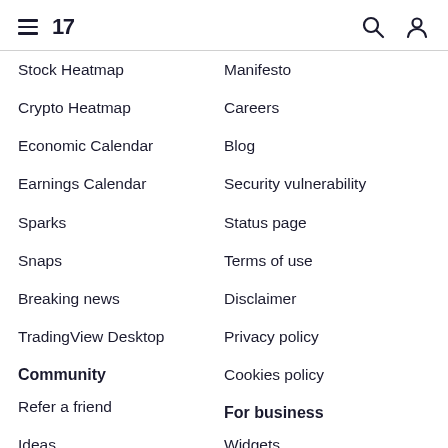TradingView navigation header with hamburger menu, logo, search and user icons
Stock Heatmap
Manifesto
Crypto Heatmap
Careers
Economic Calendar
Blog
Earnings Calendar
Security vulnerability
Sparks
Status page
Snaps
Terms of use
Breaking news
Disclaimer
TradingView Desktop
Privacy policy
Cookies policy
Community
For business
Refer a friend
Widgets
Ideas
Advertising